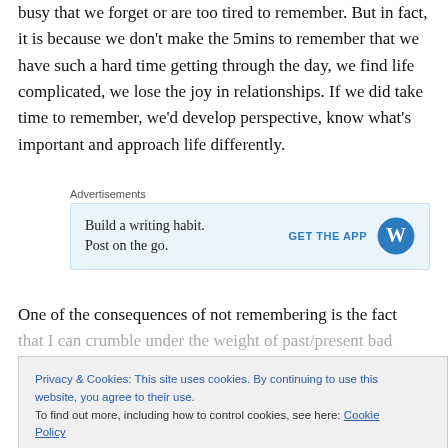busy that we forget or are too tired to remember. But in fact, it is because we don't make the 5mins to remember that we have such a hard time getting through the day, we find life complicated, we lose the joy in relationships. If we did take time to remember, we'd develop perspective, know what's important and approach life differently.
[Figure (other): WordPress advertisement banner: 'Build a writing habit. Post on the go.' with GET THE APP button and WordPress logo]
One of the consequences of not remembering is the fact that I can crumble under the weight of past/present bad
Privacy & Cookies: This site uses cookies. By continuing to use this website, you agree to their use.
To find out more, including how to control cookies, see here: Cookie Policy